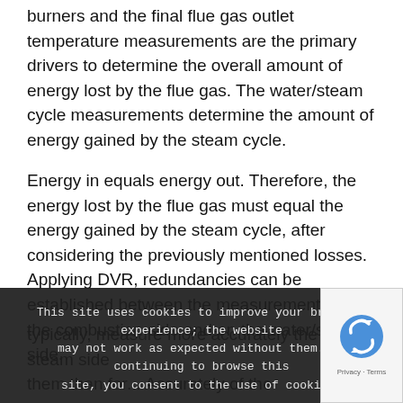burners and the final flue gas outlet temperature measurements are the primary drivers to determine the overall amount of energy lost by the flue gas. The water/steam cycle measurements determine the amount of energy gained by the steam cycle.
Energy in equals energy out. Therefore, the energy lost by the flue gas must equal the energy gained by the steam cycle, after considering the previously mentioned losses. Applying DVR, redundancies can be established between the measurements on the combustion side and on the water/steam side.
typically, measure more accurately the steam side measurements than for... Accurately of the combustion side of the boil... particularly true for the measured fuel flowrate. Additionally, there are ofte...